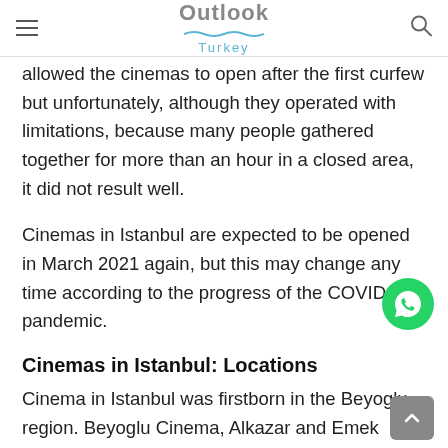Outlook Turkey
allowed the cinemas to open after the first curfew but unfortunately, although they operated with limitations, because many people gathered together for more than an hour in a closed area, it did not result well.
Cinemas in Istanbul are expected to be opened in March 2021 again, but this may change any time according to the progress of the COVID-19 pandemic.
Cinemas in Istanbul: Locations
Cinema in Istanbul was firstborn in the Beyoglu region. Beyoglu Cinema, Alkazar and Emek Cinema were used to be the center of the